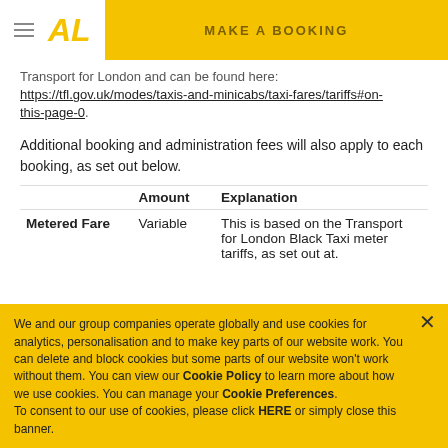AL | MAKE A BOOKING
Transport for London and can be found here: https://tfl.gov.uk/modes/taxis-and-minicabs/taxi-fares/tariffs#on-this-page-0.
Additional booking and administration fees will also apply to each booking, as set out below.
|  | Amount | Explanation |
| --- | --- | --- |
| Metered Fare | Variable | This is based on the Transport for London Black Taxi meter tariffs, as set out at. |
We and our group companies operate globally and use cookies for analytics, personalisation and to make key parts of our website work. You can delete and block cookies but some parts of our website won't work without them. You can view our Cookie Policy to learn more about how we use cookies. You can manage your Cookie Preferences. To consent to our use of cookies, please click HERE or simply close this banner.